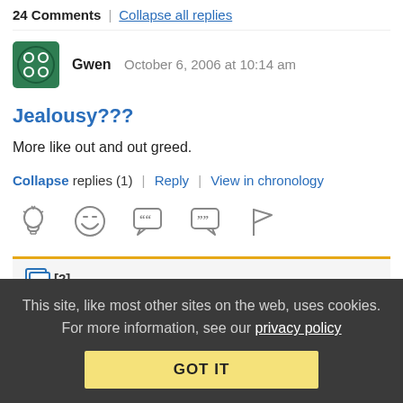24 Comments | Collapse all replies
Gwen   October 6, 2006 at 10:14 am
Jealousy???
More like out and out greed.
Collapse replies (1) | Reply | View in chronology
[Figure (infographic): Row of 5 reaction/action icons: lightbulb, laughing emoji, left-quote speech bubble, right-quote speech bubble, flag]
[2]
This site, like most other sites on the web, uses cookies. For more information, see our privacy policy GOT IT